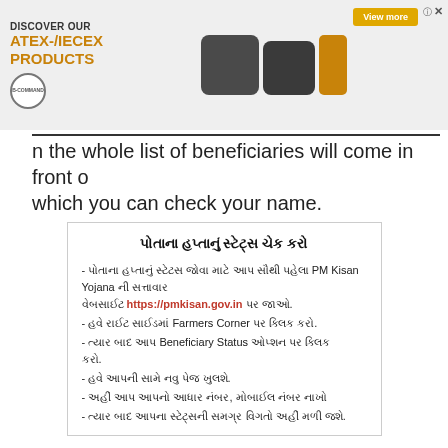[Figure (photo): Advertisement banner for B-Command ATEX-/IECEx products showing industrial devices and a View more button]
n the whole list of beneficiaries will come in front of which you can check your name.
પોતાના હપ્તાનું સ્ટેટ્સ ચેક કરો
- પોતાના હપ્તાનું સ્ટેટસ જોવા માટે આપ સૌથી પહેલા PM Kisan Yojana ની સત્તાવાર વેબસાઈટ https://pmkisan.gov.in પર જાઓ.
- હવે રાઈટ સાઈડમાં Farmers Corner પર ક્લિક કરો.
- ત્યાર બાદ આપ Beneficiary Status ઓપ્શન પર ક્લિક કરો.
- હવે આપની સામે નવુ પેજ ખુલશે.
- અહીં આપ આપનો આધાર નંબર, મોબાઈલ નંબર નાખો
- ત્યાર બાદ આપના સ્ટેટ્સની સમગ્ર વિગતો અહીં મળી જશે.
Check the status of your installment
- To see the status of your installment, first go to the